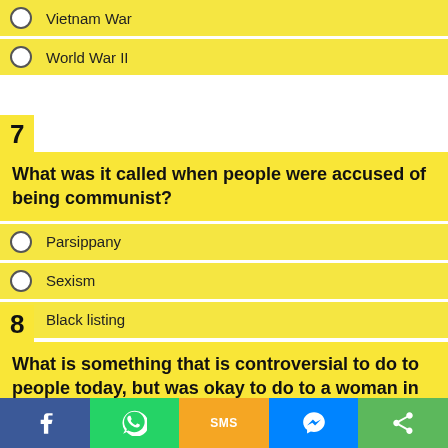Vietnam War
World War II
7
What was it called when people were accused of being communist?
Parsippany
Sexism
Black listing
8
What is something that is controversial to do to people today, but was okay to do to a woman in the 50s?